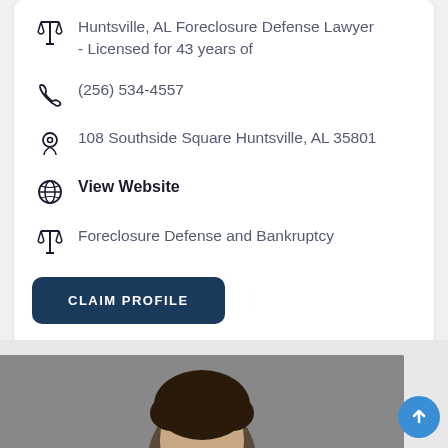Huntsville, AL Foreclosure Defense Lawyer - Licensed for 43 years of
(256) 534-4557
108 Southside Square Huntsville, AL 35801
View Website
Foreclosure Defense and Bankruptcy
CLAIM PROFILE
[Figure (photo): Portrait photo of a person with dark curly hair against a grey background, partially visible at bottom of page]